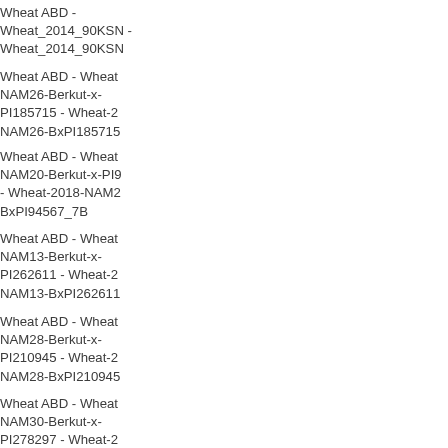Wheat ABD - Wheat_2014_90KSN - Wheat_2014_90KSN
Wheat ABD - Wheat NAM26-Berkut-x-PI185715 - Wheat-2018-NAM26-BxPI185715
Wheat ABD - Wheat NAM20-Berkut-x-PI94567 - Wheat-2018-NAM20-BxPI94567_7B
Wheat ABD - Wheat NAM13-Berkut-x-PI262611 - Wheat-2018-NAM13-BxPI262611
Wheat ABD - Wheat NAM28-Berkut-x-PI210945 - Wheat-2018-NAM28-BxPI210945
Wheat ABD - Wheat NAM30-Berkut-x-PI278297 - Wheat-2018-NAM30-BxPI278297
Wheat ABD - Wheat NAM9-Berkut-x-Vida - Wheat-2018-NAM9-